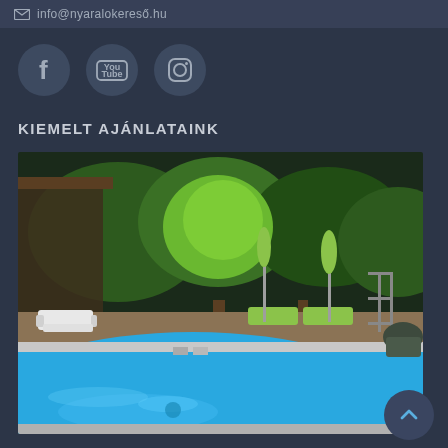info@nyaralokereső.hu
[Figure (other): Social media icon buttons: Facebook, YouTube, Instagram — circular dark buttons on dark background]
KIEMELT AJÁNLATAINK
[Figure (photo): Outdoor swimming pool with blue water, lounge chairs, beach umbrellas, and lush green trees in the background, sunny day]